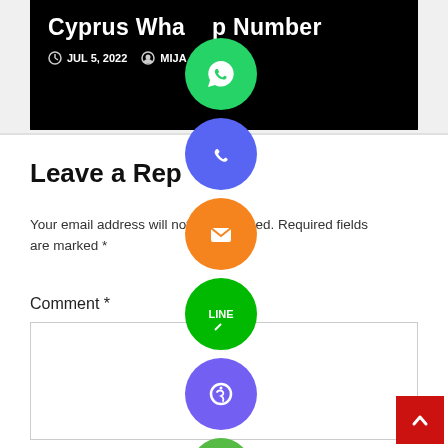[Figure (screenshot): Top black banner showing article title 'Cyprus WhatsApp Number', date JUL 5, 2022, and author MIJA__UL]
Cyprus WhatsApp Number
JUL 5, 2022   MIJA__UL
[Figure (infographic): Vertical column of social media sharing icons: WhatsApp (green), Phone/Call (blue/purple), Email (orange), LINE (green), Viber (purple), Close/X (green)]
Leave a Reply
Your email address will not be published. Required fields are marked *
Comment *